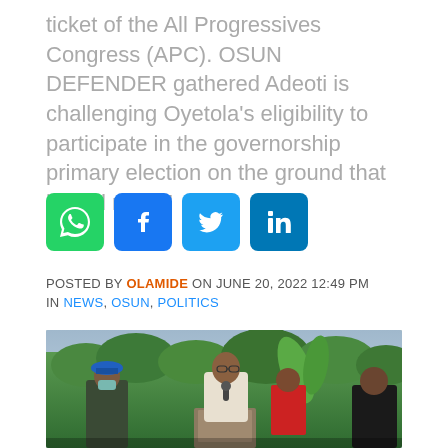ticket of the All Progressives Congress (APC). OSUN DEFENDER gathered Adeoti is challenging Oyetola’s eligibility to participate in the governorship primary election on the ground that he did not…”
[Figure (other): Social media share icons: WhatsApp (green), Facebook (blue), Twitter (light blue), LinkedIn (dark blue)]
POSTED BY OLAMIDE ON JUNE 20, 2022 12:49 PM
IN NEWS, OSUN, POLITICS
[Figure (photo): Outdoor photo of a man in white clothing speaking into a microphone at a podium, flanked by a uniformed officer with a blue beret and face mask on the left, and other figures on the right, with lush green foliage and overcast sky in the background.]